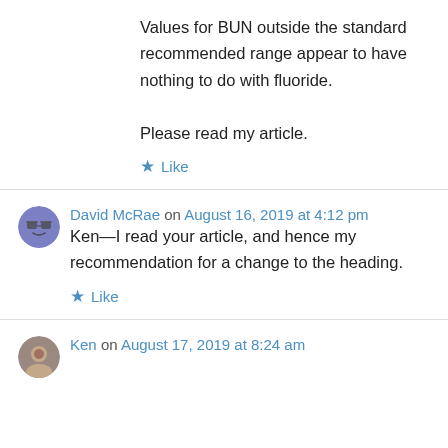Values for BUN outside the standard recommended range appear to have nothing to do with fluoride.

Please read my article.
Like
David McRae on August 16, 2019 at 4:12 pm
Ken—I read your article, and hence my recommendation for a change to the heading.
Like
Ken on August 17, 2019 at 8:24 am